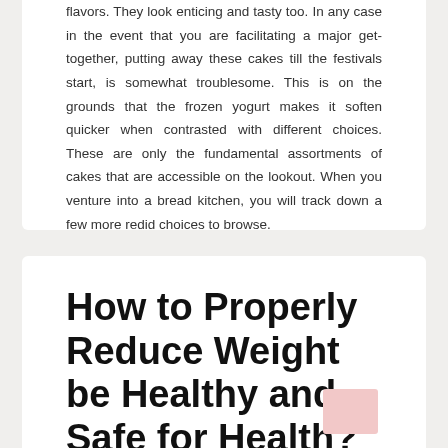flavors. They look enticing and tasty too. In any case in the event that you are facilitating a major get-together, putting away these cakes till the festivals start, is somewhat troublesome. This is on the grounds that the frozen yogurt makes it soften quicker when contrasted with different choices. These are only the fundamental assortments of cakes that are accessible on the lookout. When you venture into a bread kitchen, you will track down a few more redid choices to browse.
How to Properly Reduce Weight be Healthy and Safe for Health?